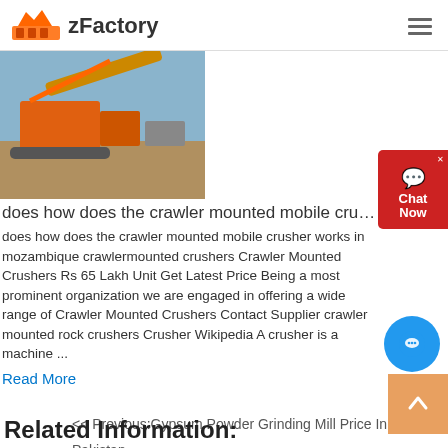zFactory
[Figure (photo): Crawler mounted mobile crusher machine at a construction/mining site with orange machinery and conveyor]
does how does the crawler mounted mobile crusher works in ...
does how does the crawler mounted mobile crusher works in mozambique crawlermounted crushers Crawler Mounted Crushers Rs 65 Lakh Unit Get Latest Price Being a most prominent organization we are engaged in offering a wide range of Crawler Mounted Crushers Contact Supplier crawler mounted rock crushers Crusher Wikipedia A crusher is a machine ...
Read More
<< Previous:Gypsum Powder Grinding Mill Price In Pakistan
>> Next:Grinding Mill For Rock Sand
Related Information: